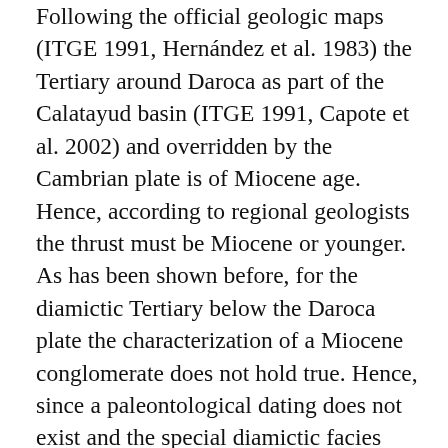Following the official geologic maps (ITGE 1991, Hernández et al. 1983) the Tertiary around Daroca as part of the Calatayud basin (ITGE 1991, Capote et al. 2002) and overridden by the Cambrian plate is of Miocene age. Hence, according to regional geologists the thrust must be Miocene or younger. As has been shown before, for the diamictic Tertiary below the Daroca plate the characterization of a Miocene conglomerate does not hold true. Hence, since a paleontological dating does not exist and the special diamictic facies does not allow any litho-stratigraphical parallelization the age of the thrust remains completely open and may be even Oligocene, Eocene or Paleocene.